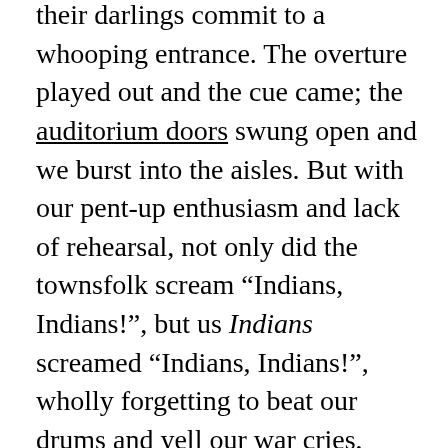their darlings commit to a whooping entrance. The overture played out and the cue came; the auditorium doors swung open and we burst into the aisles. But with our pent-up enthusiasm and lack of rehearsal, not only did the townsfolk scream “Indians, Indians!”, but us Indians screamed “Indians, Indians!”, wholly forgetting to beat our drums and yell our war cries, completely misunderstanding the intent of the direction.

I’m sure the audience didn’t noticed this innocent gaff, nor the weird irony of Indians yelling at themselves (it was years before even I thought about it beyond the mechanics of the incident). Nevertheless, and it’s worth the